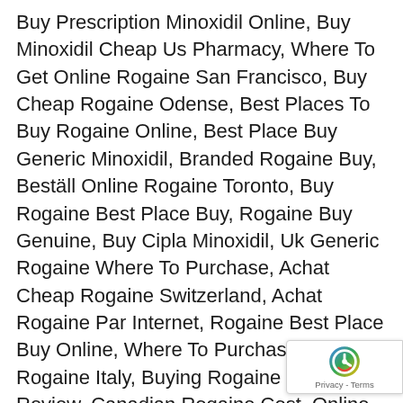Buy Prescription Minoxidil Online, Buy Minoxidil Cheap Us Pharmacy, Where To Get Online Rogaine San Francisco, Buy Cheap Rogaine Odense, Best Places To Buy Rogaine Online, Best Place Buy Generic Minoxidil, Branded Rogaine Buy, Beställ Online Rogaine Toronto, Buy Rogaine Best Place Buy, Rogaine Buy Genuine, Buy Cipla Minoxidil, Uk Generic Rogaine Where To Purchase, Achat Cheap Rogaine Switzerland, Achat Rogaine Par Internet, Rogaine Best Place Buy Online, Where To Purchase Online Rogaine Italy, Buying Rogaine Online Review, Canadian Rogaine Cost, Online Rogaine Order, Buy Minoxidil Retail, Order Generic Rogaine San Diego, Minoxidil Kopen Zonder Voorschrift, Where To Purchase Generic Rogaine San Diego, Rogaine Generic Purchase, Where To
[Figure (other): reCAPTCHA badge with logo and Privacy - Terms text]